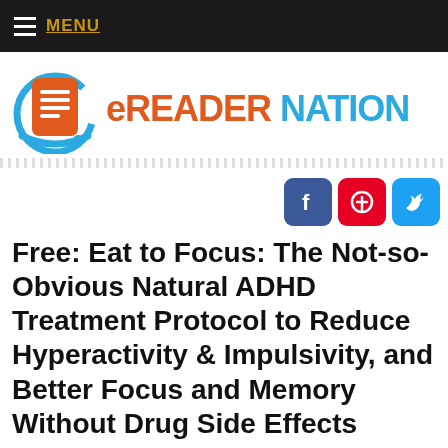MENU
[Figure (logo): eReader Nation logo with orange tablet icon and blue/orange wordmark]
[Figure (other): Social media share buttons: Facebook, Pinterest, Twitter]
Free: Eat to Focus: The Not-so-Obvious Natural ADHD Treatment Protocol to Reduce Hyperactivity & Impulsivity, and Better Focus and Memory Without Drug Side Effects